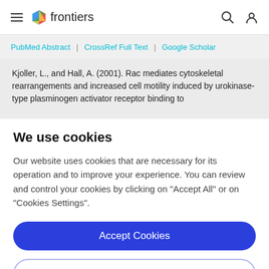frontiers
PubMed Abstract | CrossRef Full Text | Google Scholar
Kjoller, L., and Hall, A. (2001). Rac mediates cytoskeletal rearrangements and increased cell motility induced by urokinase-type plasminogen activator receptor binding to
We use cookies
Our website uses cookies that are necessary for its operation and to improve your experience. You can review and control your cookies by clicking on "Accept All" or on "Cookies Settings".
Accept Cookies
Cookies Settings